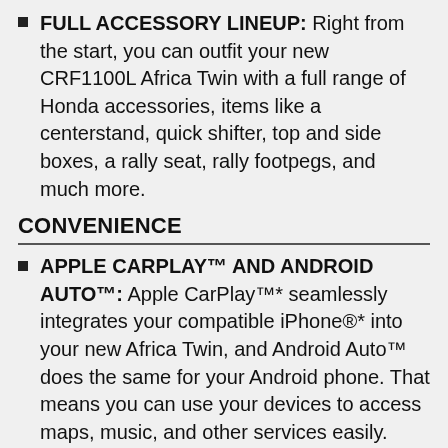FULL ACCESSORY LINEUP: Right from the start, you can outfit your new CRF1100L Africa Twin with a full range of Honda accessories, items like a centerstand, quick shifter, top and side boxes, a rally seat, rally footpegs, and much more.
CONVENIENCE
APPLE CARPLAY™ AND ANDROID AUTO™: Apple CarPlay™* seamlessly integrates your compatible iPhone®* into your new Africa Twin, and Android Auto™ does the same for your Android phone. That means you can use your devices to access maps, music, and other services easily. You'll have access to weather, playlists and telephone numbers while aboard. Available Bluetooth®**-enabled wireless